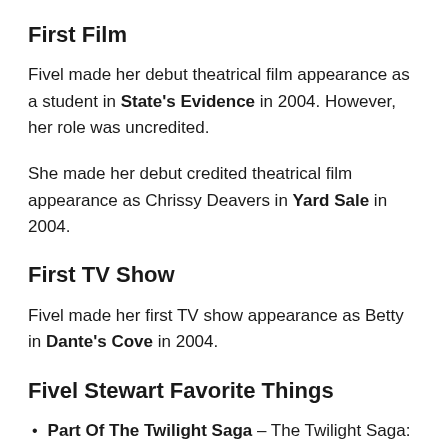First Film
Fivel made her debut theatrical film appearance as a student in State's Evidence in 2004. However, her role was uncredited.
She made her debut credited theatrical film appearance as Chrissy Deavers in Yard Sale in 2004.
First TV Show
Fivel made her first TV show appearance as Betty in Dante's Cove in 2004.
Fivel Stewart Favorite Things
Part Of The Twilight Saga – The Twilight Saga: Breaking